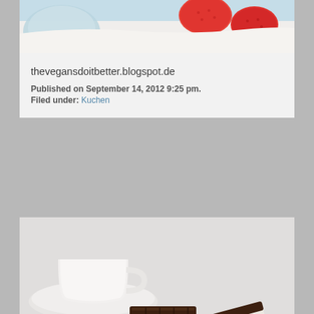[Figure (photo): Partial photo of a cake or dessert with strawberry slices on top, light blue dish visible, white cream surface]
thevegansdoitbetter.blogspot.de
Published on September 14, 2012 9:25 pm.
Filed under: Kuchen
[Figure (photo): Photo of chocolate sandwich cookies stacked on a white plate, with a white cup and saucer visible in the background top-left, on a light gray surface]
vegan-und-lecker.de
Published on September 14, 2012 9:24 pm.
Filed under: Keks